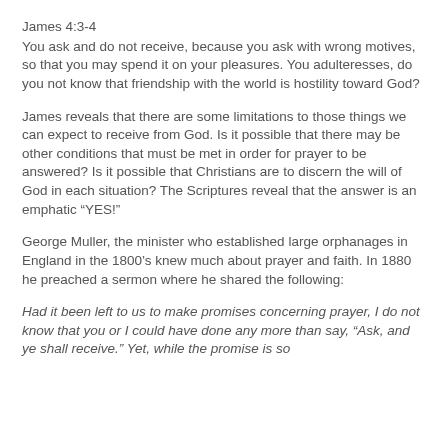James 4:3-4
You ask and do not receive, because you ask with wrong motives, so that you may spend it on your pleasures. You adulteresses, do you not know that friendship with the world is hostility toward God?
James reveals that there are some limitations to those things we can expect to receive from God. Is it possible that there may be other conditions that must be met in order for prayer to be answered? Is it possible that Christians are to discern the will of God in each situation? The Scriptures reveal that the answer is an emphatic “YES!”
George Muller, the minister who established large orphanages in England in the 1800’s knew much about prayer and faith. In 1880 he preached a sermon where he shared the following:
Had it been left to us to make promises concerning prayer, I do not know that you or I could have done any more than say, “Ask, and ye shall receive.” Yet, while the promise is so